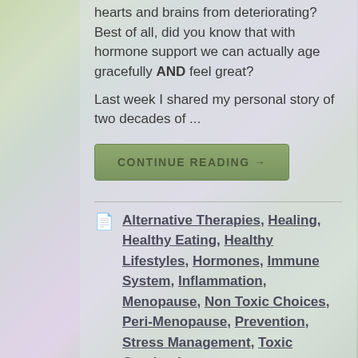hearts and brains from deteriorating? Best of all, did you know that with hormone support we can actually age gracefully AND feel great?
Last week I shared my personal story of two decades of ...
CONTINUE READING →
Alternative Therapies, Healing, Healthy Eating, Healthy Lifestyles, Hormones, Immune System, Inflammation, Menopause, Non Toxic Choices, Peri-Menopause, Prevention, Stress Management, Toxic Overload